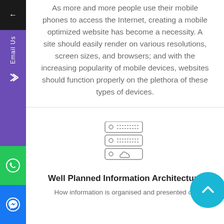As more and more people use their mobile phones to access the Internet, creating a mobile optimized website has become a necessity. A site should easily render on various resolutions, screen sizes, and browsers; and with the increasing popularity of mobile devices, websites should function properly on the plethora of these types of devices.
[Figure (illustration): Server/database stack icon with cloud symbol below, outlined in grey]
Well Planned Information Architecture
How information is organised and presented on